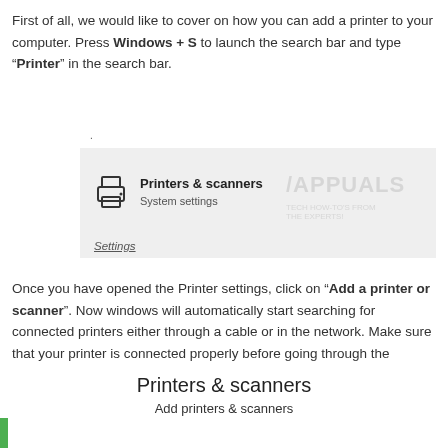First of all, we would like to cover on how you can add a printer to your computer. Press Windows + S to launch the search bar and type “Printer” in the search bar.
[Figure (screenshot): Windows search result showing 'Printers & scanners – System settings' with a printer icon and an Appuals watermark overlay]
Once you have opened the Printer settings, click on “Add a printer or scanner”. Now windows will automatically start searching for connected printers either through a cable or in the network. Make sure that your printer is connected properly before going through the detection.
[Figure (screenshot): Windows Printers & scanners settings UI showing title 'Printers & scanners' and button 'Add printers & scanners']